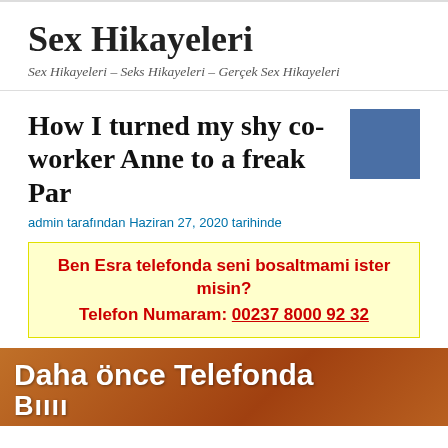Sex Hikayeleri
Sex Hikayeleri – Seks Hikayeleri – Gerçek Sex Hikayeleri
How I turned my shy co-worker Anne to a freak Par
admin tarafından Haziran 27, 2020 tarihinde
Ben Esra telefonda seni bosaltmami ister misin? Telefon Numaram: 00237 8000 92 32
[Figure (photo): Bottom banner image with text 'Daha önce Telefonda' in white on orange/photo background]